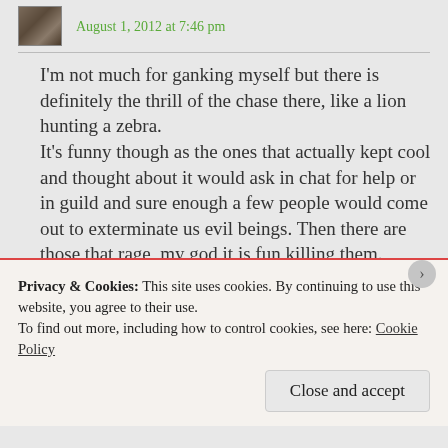August 1, 2012 at 7:46 pm
I'm not much for ganking myself but there is definitely the thrill of the chase there, like a lion hunting a zebra. It's funny though as the ones that actually kept cool and thought about it would ask in chat for help or in guild and sure enough a few people would come out to exterminate us evil beings. Then there are those that rage, my god it is fun killing them.
Privacy & Cookies: This site uses cookies. By continuing to use this website, you agree to their use.
To find out more, including how to control cookies, see here: Cookie Policy